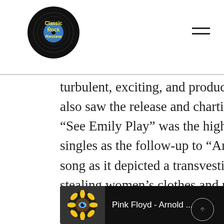Classic Rock Review
turbulent, exciting, and productive year for Pink Floyd, which also saw the release and charting of three non-album singles. “See Emily Play” was the highest charting on these early singles as the follow-up to “Arnold Layne”, a controversial song as it depicted a transvestite whose primary pastime was stealing women’s clothes and undergarments from washing lines and many English radio stations refused to play the song.
[Figure (screenshot): YouTube video thumbnail showing Pink Floyd - Arnold ... with a sunflower icon and three-dot menu]